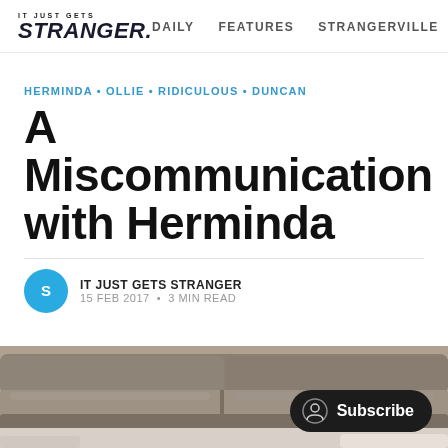IT JUST GETS STRANGER. | DAILY | FEATURES | STRANGERVILLE
HERMINDA • OLLIE • RIDICULOUS • DUNCAN
A Miscommunication with Herminda
IT JUST GETS STRANGER
15 FEB 2017 • 3 MIN READ
[Figure (photo): Photo of a grey leather couch/sofa, partially visible at bottom of page. A Subscribe button overlay appears in the bottom right.]